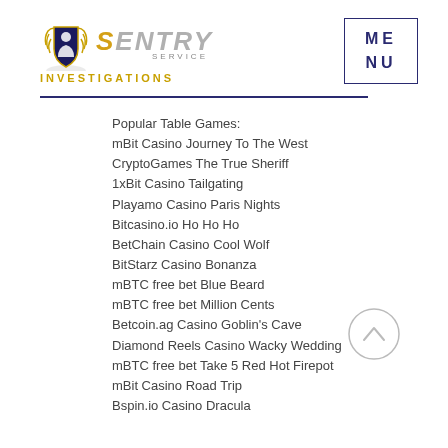[Figure (logo): Sentry Service Investigations logo with shield icon and stylized text]
[Figure (other): Menu button box with text MENU in dark blue]
Popular Table Games:
mBit Casino Journey To The West
CryptoGames The True Sheriff
1xBit Casino Tailgating
Playamo Casino Paris Nights
Bitcasino.io Ho Ho Ho
BetChain Casino Cool Wolf
BitStarz Casino Bonanza
mBTC free bet Blue Beard
mBTC free bet Million Cents
Betcoin.ag Casino Goblin's Cave
Diamond Reels Casino Wacky Wedding
mBTC free bet Take 5 Red Hot Firepot
mBit Casino Road Trip
Bspin.io Casino Dracula